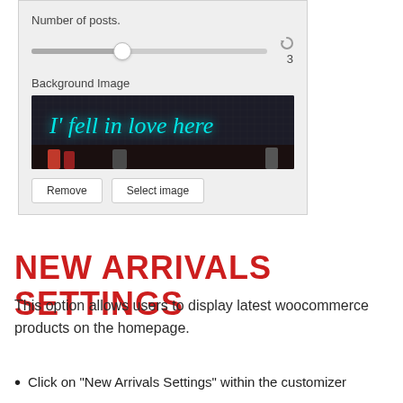[Figure (screenshot): A WordPress customizer settings panel showing a 'Number of posts.' slider set to 3 and a 'Background Image' section with a photo of a neon sign reading 'I fell in love here' against a dark background with a crowd. Below the photo are 'Remove' and 'Select image' buttons.]
NEW ARRIVALS SETTINGS
This option allows users to display latest woocommerce products on the homepage.
Click on "New Arrivals Settings" within the customizer